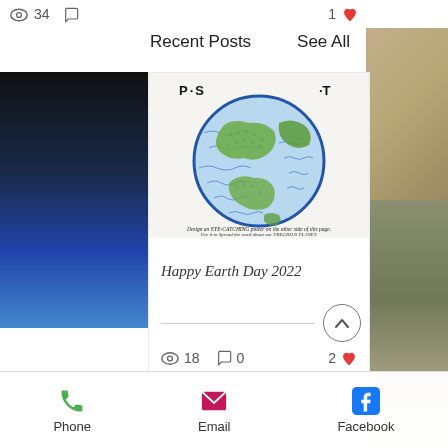34  [comment icon]   1 ❤
Recent Posts   See All
[Figure (photo): Hand-drawn Earth Day poster showing a globe with green continents and blue oceans, text reading 'P.S...T.' at top, with cursive instructions around the bottom of the globe]
Happy Earth Day 2022
18  [comment] 0   2 ❤
Phone   Email   Facebook